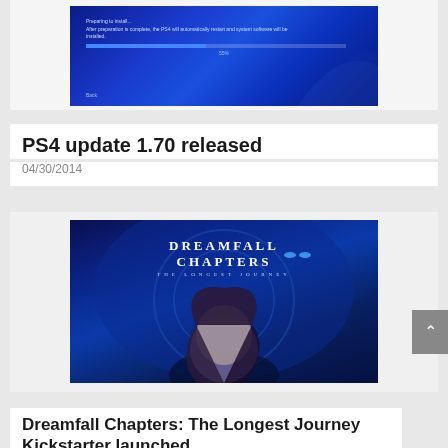[Figure (screenshot): PS4 system software update installation screen showing a progress bar at 55% on a dark blue background.]
PS4 update 1.70 released
04/30/2014
[Figure (photo): Dreamfall Chapters: The Longest Journey game art showing a female character with dark hair against a blue fantasy background with an alien creature above.]
Dreamfall Chapters: The Longest Journey Kickstarter launched